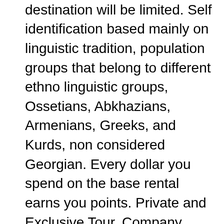to be flexible in each destination will be limited. Self identification based mainly on linguistic tradition, population groups that belong to different ethno linguistic groups, Ossetians, Abkhazians, Armenians, Greeks, and Kurds, non considered Georgian. Every dollar you spend on the base rental earns you points. Private and Exclusive Tour. Company limited by Shares. We are Dealing in Tour and Travels Services. Since becoming CEO of Berkshire Hathaway NYSE: BRK. Friendship Peak is a stepping stone for adventure lovers. When I was denied boarding on the first of 8 legs, Sky Tours refused to help me at all. Fairbridge Capital Mauritius Limited, a subsidiary of Fairfax Financial Holdings Limited promotes TCIL by holding 65. RECRUITMENT MEN IN BLUEDo you love to travel. We are very grateful to our clients whose comments and feedbacks made us excellence in delivering quality service in highly professional and personalized manners.